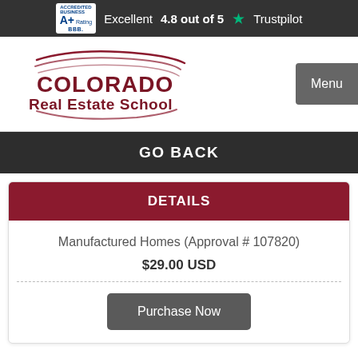Excellent 4.8 out of 5 ★ Trustpilot
[Figure (logo): Colorado Real Estate School logo with swoosh lines above the text]
GO BACK
DETAILS
Manufactured Homes (Approval # 107820)
$29.00 USD
Purchase Now